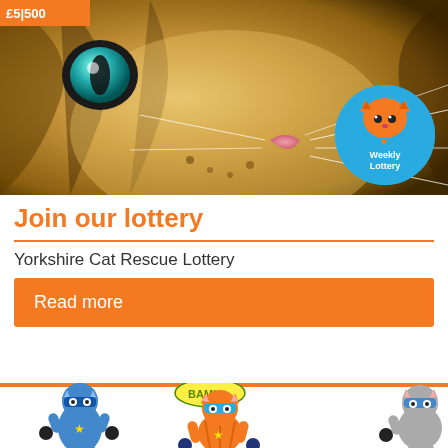[Figure (photo): Close-up photo of a tabby cat's face with turquoise eyes and long whiskers. Orange 'Weekly Lottery' badge overlay in the top right. Orange price tag overlay in the top left showing '£5|500'.]
Join our lottery
Yorkshire Cat Rescue Lottery
Read more
[Figure (illustration): Cartoon superhero cat characters — a blue cat on the left, an orange/blue striped cat in the middle with 'BAM!' text, and a grey cat on the right — all wearing superhero masks and costumes.]